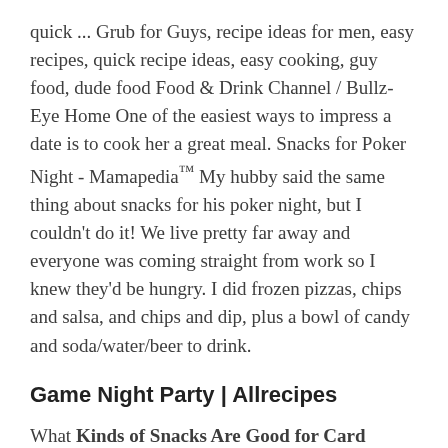quick ... Grub for Guys, recipe ideas for men, easy recipes, quick recipe ideas, easy cooking, guy food, dude food Food & Drink Channel / Bullz-Eye Home One of the easiest ways to impress a date is to cook her a great meal. Snacks for Poker Night - Mamapedia™ My hubby said the same thing about snacks for his poker night, but I couldn't do it! We live pretty far away and everyone was coming straight from work so I knew they'd be hungry. I did frozen pizzas, chips and salsa, and chips and dip, plus a bowl of candy and soda/water/beer to drink.
Game Night Party | Allrecipes
What Kinds of Snacks Are Good for Card Night? | Our ... What Kinds of Snacks Are Good for Card Night? by